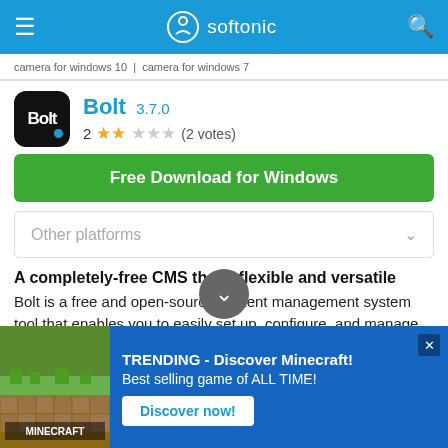softonic
camera for windows 10 | camera for windows 7
Bolt 3.7.0
2 ★★☆☆☆ (2 votes)
Free Download for Windows
Other platforms
A completely-free CMS that's flexible and versatile
Bolt is a free and open-source content management system tool that enables you to easily set up, configure, and manage your website. Developed by Two Kings...
[Figure (screenshot): Minecraft advertisement banner with logo image and text: TRENDING - Discover Minecraft! Best selling game of ALL TIME! with Discover now! button]